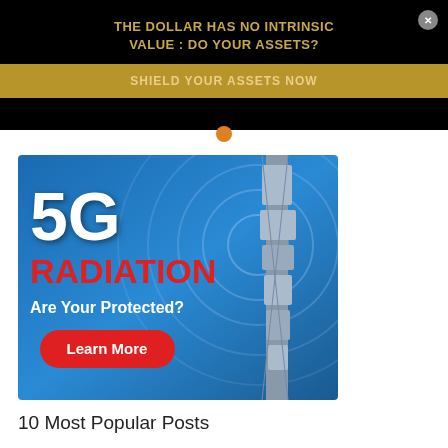THE DOLLAR HAS NO INTRINSIC VALUE : DO YOUR ASSETS?
SHIELD YOUR ASSETS NOW
[Figure (illustration): 5G Radiation advertisement banner featuring a cell tower on the right with signal rings in the background. Large white '5G' text, red 'RADIATION' text, white 'Are Your Protected?' text, and a red rounded 'Learn More' button.]
10 Most Popular Posts